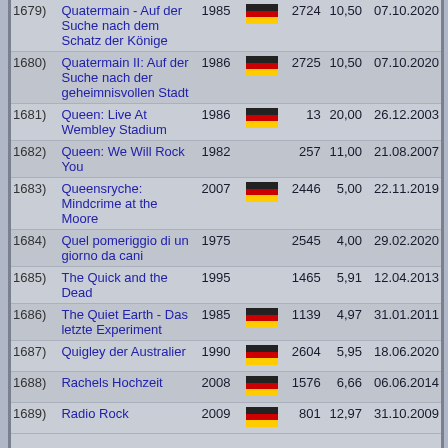| ID | Title | Year | Flag | Count | Price | Date |
| --- | --- | --- | --- | --- | --- | --- |
| 1679) | Quatermain - Auf der Suche nach dem Schatz der Könige | 1985 | DE | 2724 | 10,50 | 07.10.2020 |
| 1680) | Quatermain II: Auf der Suche nach der geheimnisvollen Stadt | 1986 | DE | 2725 | 10,50 | 07.10.2020 |
| 1681) | Queen: Live At Wembley Stadium | 1986 | DE | 13 | 20,00 | 26.12.2003 |
| 1682) | Queen: We Will Rock You | 1982 |  | 257 | 11,00 | 21.08.2007 |
| 1683) | Queensryche: Mindcrime at the Moore | 2007 | DE | 2446 | 5,00 | 22.11.2019 |
| 1684) | Quel pomeriggio di un giorno da cani | 1975 |  | 2545 | 4,00 | 29.02.2020 |
| 1685) | The Quick and the Dead | 1995 |  | 1465 | 5,91 | 12.04.2013 |
| 1686) | The Quiet Earth - Das letzte Experiment | 1985 | DE | 1139 | 4,97 | 31.01.2011 |
| 1687) | Quigley der Australier | 1990 | DE | 2604 | 5,95 | 18.06.2020 |
| 1688) | Rachels Hochzeit | 2008 | DE | 1576 | 6,66 | 06.06.2014 |
| 1689) | Radio Rock | 2009 | DE | 801 | 12,97 | 31.10.2009 |